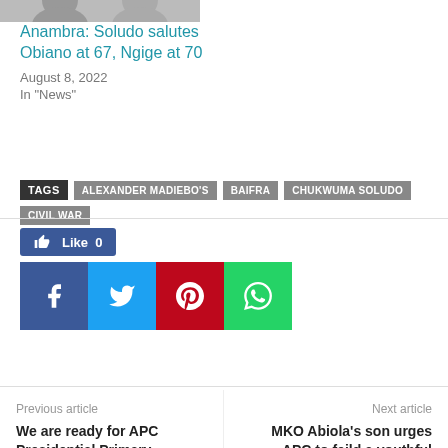[Figure (photo): Partial photo strip showing two people's shoulders/heads cropped at top of page]
Anambra: Soludo salutes Obiano at 67, Ngige at 70
August 8, 2022
In "News"
TAGS: ALEXANDER MADIEBO'S | BAIFRA | CHUKWUMA SOLUDO | CIVIL WAR
[Figure (infographic): Like button (Facebook blue) showing Like 0]
[Figure (infographic): Social share buttons: Facebook (blue), Twitter (light blue), Pinterest (red), WhatsApp (green)]
Previous article
We are ready for APC Presidential Primary – Akeredolu
Next article
MKO Abiola's son urges APC to feild a youthful presidential candidate